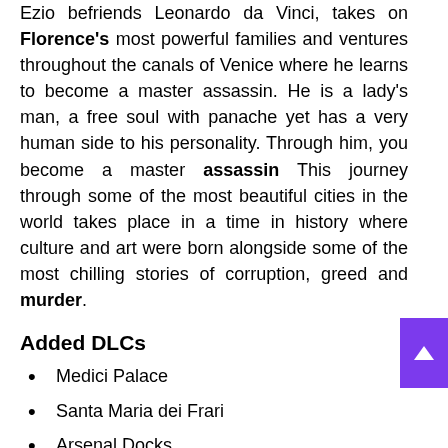Ezio befriends Leonardo da Vinci, takes on Florence's most powerful families and ventures throughout the canals of Venice where he learns to become a master assassin. He is a lady's man, a free soul with panache yet has a very human side to his personality. Through him, you become a master assassin This journey through some of the most beautiful cities in the world takes place in a time in history where culture and art were born alongside some of the most chilling stories of corruption, greed and murder.
Added DLCs
Medici Palace
Santa Maria dei Frari
Arsenal Docks
Tomb of Auditore (at the Villa)
Improved knife bag (25 knives)